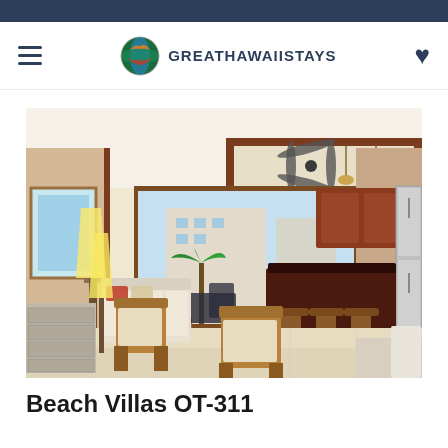GreatHawaiiStays
[Figure (photo): Interior photo of a luxury vacation condo showing a living room with rattan furniture, open floor plan, kitchen with dark wood cabinets and stainless steel appliances, ceiling fans, and a lanai/balcony with outdoor dining furniture and palm trees visible in the background.]
Beach Villas OT-311